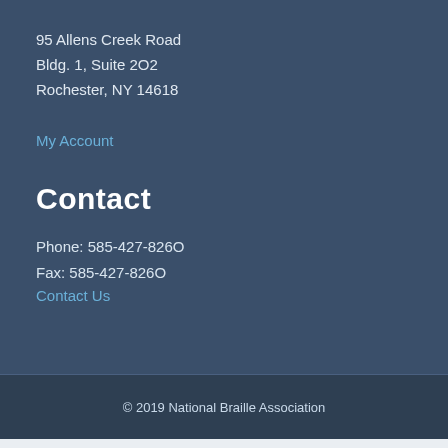95 Allens Creek Road
Bldg. 1, Suite 2O2
Rochester, NY 14618
My Account
Contact
Phone: 585-427-826O
Fax: 585-427-826O
Contact Us
© 2019 National Braille Association
Website powered by Neon One